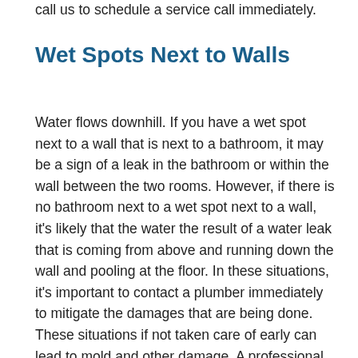call us to schedule a service call immediately.
Wet Spots Next to Walls
Water flows downhill. If you have a wet spot next to a wall that is next to a bathroom, it may be a sign of a leak in the bathroom or within the wall between the two rooms. However, if there is no bathroom next to a wet spot next to a wall, it's likely that the water the result of a water leak that is coming from above and running down the wall and pooling at the floor. In these situations, it's important to contact a plumber immediately to mitigate the damages that are being done. These situations if not taken care of early can lead to mold and other damage. A professional plumber will use the latest electronic leak detection equipment to detect the location of the leak so that it can be fixed quickly and inexpensively as well as it will prevent future damage.